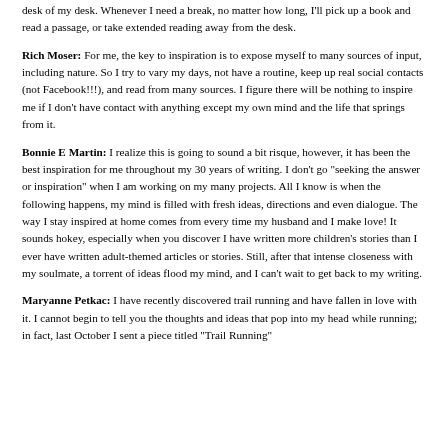desk of my desk. Whenever I need a break, no matter how long, I'll pick up a book and read a passage, or take extended reading away from the desk.
Rich Moser: For me, the key to inspiration is to expose myself to many sources of input, including nature. So I try to vary my days, not have a routine, keep up real social contacts (not Facebook!!!), and read from many sources. I figure there will be nothing to inspire me if I don't have contact with anything except my own mind and the life that springs from it.
Bonnie E Martin: I realize this is going to sound a bit risque, however, it has been the best inspiration for me throughout my 30 years of writing. I don't go "seeking the answer or inspiration" when I am working on my many projects. All I know is when the following happens, my mind is filled with fresh ideas, directions and even dialogue. The way I stay inspired at home comes from every time my husband and I make love! It sounds hokey, especially when you discover I have written more children's stories than I ever have written adult-themed articles or stories. Still, after that intense closeness with my soulmate, a torrent of ideas flood my mind, and I can't wait to get back to my writing.
Maryanne Petkac: I have recently discovered trail running and have fallen in love with it. I cannot begin to tell you the thoughts and ideas that pop into my head while running; in fact, last October I sent a piece titled "Trail Running"